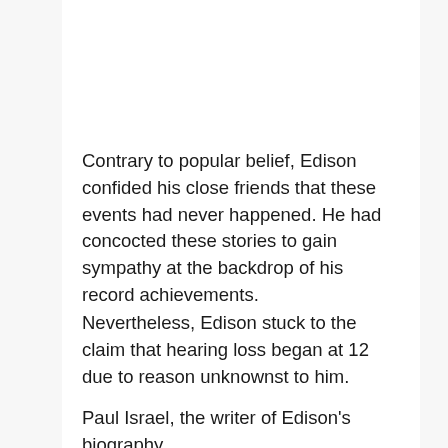Contrary to popular belief, Edison confided his close friends that these events had never happened. He had concocted these stories to gain sympathy at the backdrop of his record achievements.
Nevertheless, Edison stuck to the claim that hearing loss began at 12 due to reason unknownst to him.
Paul Israel, the writer of Edison's biography